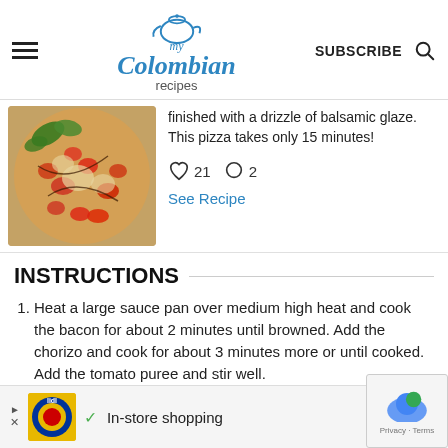my Colombian recipes | SUBSCRIBE
[Figure (photo): Close-up photo of a pizza topped with tomatoes and garnished with basil leaves, with a balsamic glaze drizzle]
finished with a drizzle of balsamic glaze. This pizza takes only 15 minutes!
21 likes, 2 comments
See Recipe
INSTRUCTIONS
Heat a large sauce pan over medium high heat and cook the bacon for about 2 minutes until browned. Add the chorizo and cook for about 3 minutes more or until cooked. Add the tomato puree and stir well.
Add the pasta to the pan and pour in the
In-store shopping (advertisement)